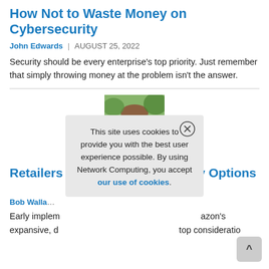How Not to Waste Money on Cybersecurity
John Edwards | AUGUST 25, 2022
Security should be every enterprise's top priority. Just remember that simply throwing money at the problem isn't the answer.
[Figure (photo): Headshot photo of a man outdoors with green trees in background]
Retailers Explore Drone Delivery Options ... fillment Emerges
Bob Walla... | ...
Early implem... nazon's expansive, c... top consideratio...
This site uses cookies to provide you with the best user experience possible. By using Network Computing, you accept our use of cookies.